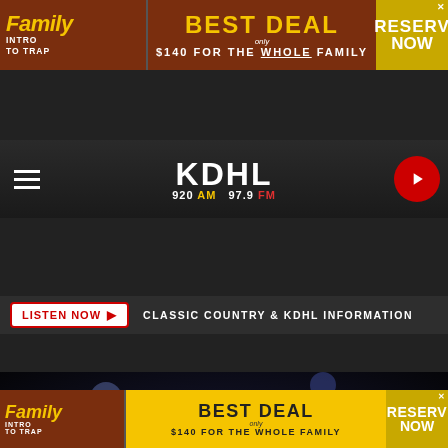[Figure (screenshot): Top advertisement banner: Family Intro to Trap — Best Deal — $140 for the Whole Family — ReservNow]
[Figure (logo): KDHL 920 AM 97.9 FM radio station logo with navigation bar and play button]
LISTEN NOW ▶  CLASSIC COUNTRY & KDHL INFORMATION
[Figure (photo): Blonde woman in white bejeweled outfit singing into microphone, bokeh lights background. Photo credit: Emma McIntyre, Getty Images]
Emma McIntyre, Getty Images
[Figure (screenshot): Bottom advertisement banner: Family Intro to Trap — Best Deal — $140 for the Whole Family — ReservNow]